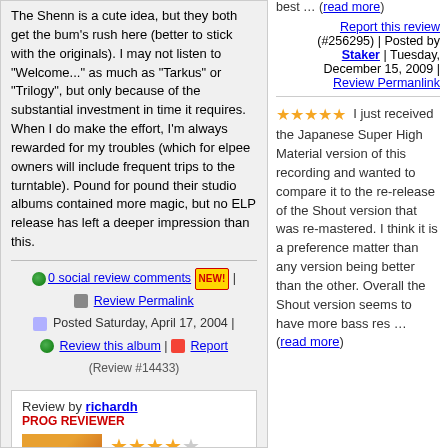The Shenn is a cute idea, but they both get the bum's rush here (better to stick with the originals). I may not listen to "Welcome..." as much as "Tarkus" or "Trilogy", but only because of the substantial investment in time it requires. When I do make the effort, I'm always rewarded for my troubles (which for elpee owners will include frequent trips to the turntable). Pound for pound their studio albums contained more magic, but no ELP release has left a deeper impression than this.
0 social review comments NEW! | Review Permalink | Posted Saturday, April 17, 2004 | Review this album | Report (Review #14433)
Review by richardh
PROG REVIEWER
best ... (read more)
Report this review (#256295) | Posted by Staker | Tuesday, December 15, 2009 | Review Permanlink
★★★★★ I just received the Japanese Super High Material version of this recording and wanted to compare it to the re-release of the Shout version that was re-mastered. I think it is a preference matter than any version being better than the other. Overall the Shout version seems to have more bass res ... (read more)